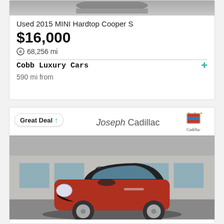[Figure (photo): Top portion of a MINI Cooper car (cropped, showing roof/top), gray background]
Used 2015 MINI Hardtop Cooper S
$16,000
68,256 mi
Cobb Luxury Cars
590 mi from
[Figure (photo): Red MINI Cooper hardtop car parked in front of a Joseph Cadillac dealership. A 'Great Deal' badge with up arrow is overlaid top-left. Cadillac logo top-right.]
Joseph Cadillac
Great Deal ↑